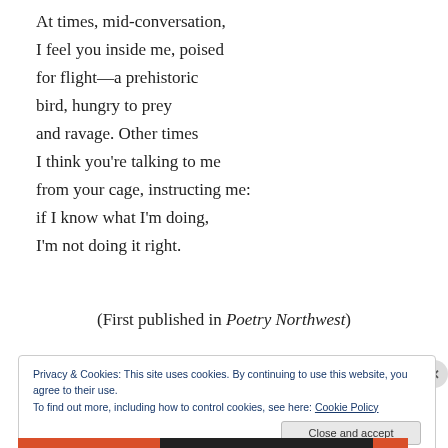At times, mid-conversation,
I feel you inside me, poised
for flight—a prehistoric
bird, hungry to prey
and ravage. Other times
I think you're talking to me
from your cage, instructing me:
if I know what I'm doing,
I'm not doing it right.
(First published in Poetry Northwest)
Privacy & Cookies: This site uses cookies. By continuing to use this website, you agree to their use.
To find out more, including how to control cookies, see here: Cookie Policy